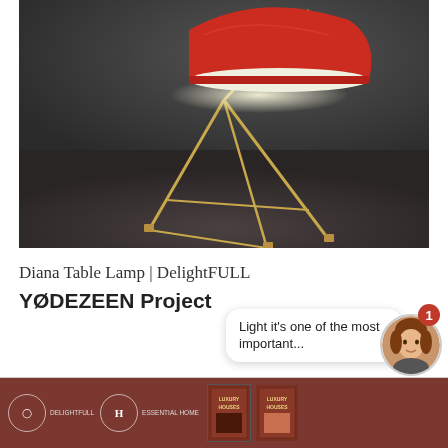[Figure (photo): A red Diana table lamp with gold/brass geometric tripod base photographed on a dark gray background. The lamp shade is red/orange and dome-shaped, emitting light from beneath. The base consists of thin gold metal rods forming a geometric triangular frame.]
Diana Table Lamp | DelightFULL
YØDEZEEN Project
[Figure (screenshot): Bottom app navigation bar with dark red/maroon background showing icons, book thumbnails labeled LUXURY HOUSES, and partially visible text. A chat bubble overlay reads 'Light it's one of the most important...' and a female avatar with notification badge showing '1' appears in the bottom right.]